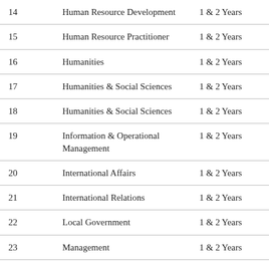|  | Programme | Duration |
| --- | --- | --- |
| 14 | Human Resource Development | 1 & 2 Years |
| 15 | Human Resource Practitioner | 1 & 2 Years |
| 16 | Humanities | 1 & 2 Years |
| 17 | Humanities & Social Sciences | 1 & 2 Years |
| 18 | Humanities & Social Sciences | 1 & 2 Years |
| 19 | Information & Operational Management | 1 & 2 Years |
| 20 | International Affairs | 1 & 2 Years |
| 21 | International Relations | 1 & 2 Years |
| 22 | Local Government | 1 & 2 Years |
| 23 | Management | 1 & 2 Years |